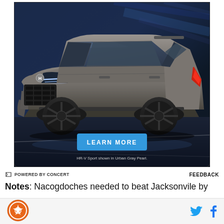[Figure (photo): Honda HR-V Sport in Urban Gray Pearl driving on a dark road, with a blue 'LEARN MORE' button and caption 'HR-V Sport shown in Urban Gray Pearl.' overlaid on the image. Ad powered by Concert.]
POWERED BY CONCERT      FEEDBACK
Notes: Nacogdoches needed to beat Jacksonvile by
[Figure (logo): Circular logo with star and football-like shape, orange and white colors — site footer logo]